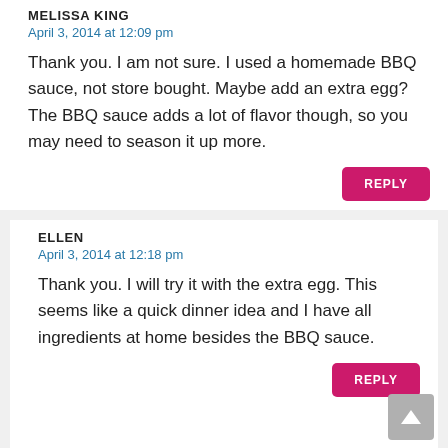MELISSA KING
April 3, 2014 at 12:09 pm
Thank you. I am not sure. I used a homemade BBQ sauce, not store bought. Maybe add an extra egg? The BBQ sauce adds a lot of flavor though, so you may need to season it up more.
ELLEN
April 3, 2014 at 12:18 pm
Thank you. I will try it with the extra egg. This seems like a quick dinner idea and I have all ingredients at home besides the BBQ sauce.